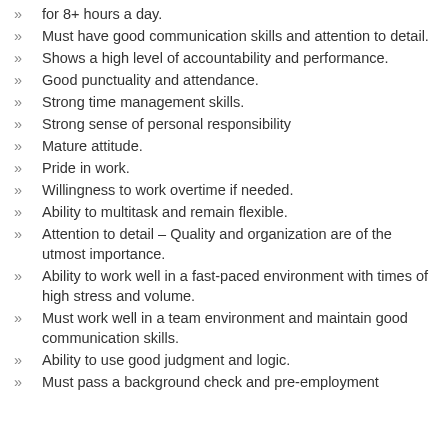for 8+ hours a day.
Must have good communication skills and attention to detail.
Shows a high level of accountability and performance.
Good punctuality and attendance.
Strong time management skills.
Strong sense of personal responsibility
Mature attitude.
Pride in work.
Willingness to work overtime if needed.
Ability to multitask and remain flexible.
Attention to detail – Quality and organization are of the utmost importance.
Ability to work well in a fast-paced environment with times of high stress and volume.
Must work well in a team environment and maintain good communication skills.
Ability to use good judgment and logic.
Must pass a background check and pre-employment